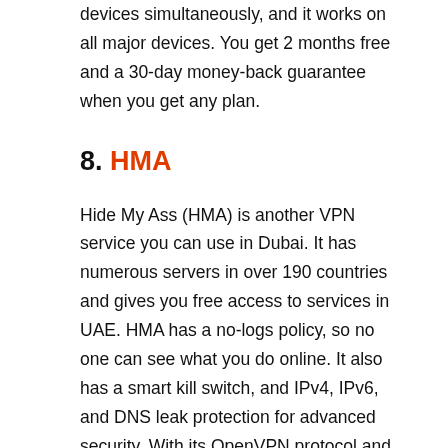devices simultaneously, and it works on all major devices. You get 2 months free and a 30-day money-back guarantee when you get any plan.
8. HMA
Hide My Ass (HMA) is another VPN service you can use in Dubai. It has numerous servers in over 190 countries and gives you free access to services in UAE. HMA has a no-logs policy, so no one can see what you do online. It also has a smart kill switch, and IPv4, IPv6, and DNS leak protection for advanced security. With its OpenVPN protocol and fast servers, you'll enjoy good speeds with HMA. It can connect to five devices at a time including macOS, IOS. Windows, Linux, and Routers.